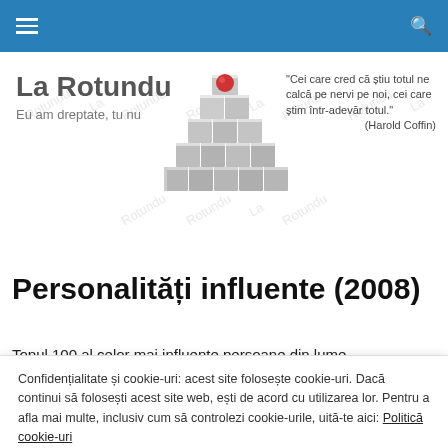La Rotundu — Eu am dreptate, tu nu
[Figure (illustration): 3D grey cubes arranged in a pile with a red sphere on top, representing the La Rotundu website logo]
"Cei care cred că știu totul ne calcă pe nervi pe noi, cei care știm într-adevăr totul." (Harold Coffin)
Personalități influente (2008)
Topul 100 al celor mai influente persoane din lume
Confidențialitate și cookie-uri: acest site folosește cookie-uri. Dacă continui să folosești acest site web, ești de acord cu utilizarea lor. Pentru a afla mai multe, inclusiv cum să controlezi cookie-urile, uită-te aici: Politică cookie-uri
2. Rupert Murdoch, News Corp. (1)